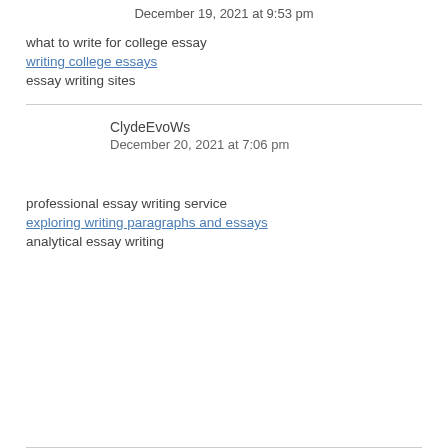December 19, 2021 at 9:53 pm
what to write for college essay
writing college essays
essay writing sites
ClydeEvoWs
December 20, 2021 at 7:06 pm
professional essay writing service
exploring writing paragraphs and essays
analytical essay writing